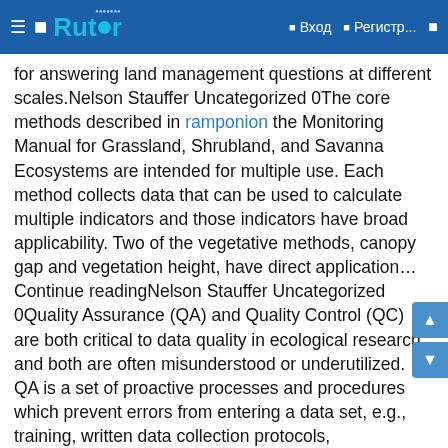Rutor | Вход | Регистр...
for answering land management questions at different scales.Nelson Stauffer Uncategorized 0The core methods described in ramponion the Monitoring Manual for Grassland, Shrubland, and Savanna Ecosystems are intended for multiple use. Each method collects data that can be used to calculate multiple indicators and those indicators have broad applicability. Two of the vegetative methods, canopy gap and vegetation height, have direct application…Continue readingNelson Stauffer Uncategorized 0Quality Assurance (QA) and Quality Control (QC) are both critical to data quality in ecological research and both are often misunderstood or underutilized. QA is a set of proactive processes and procedures which prevent errors from entering a data set, e.g., training, written data collection protocols, standardized data entry formats,…Continue readingNelson Stauffer Uncategorized 0In order to meet its monitoring and information needs, the Bureau of Land Management is making use of its Assessment, Inventory, and Monitoring strategy (AIM). While taking advantage of the tools and approaches available on the Landscape Toolbox, there are additional implementation requirements concerning the